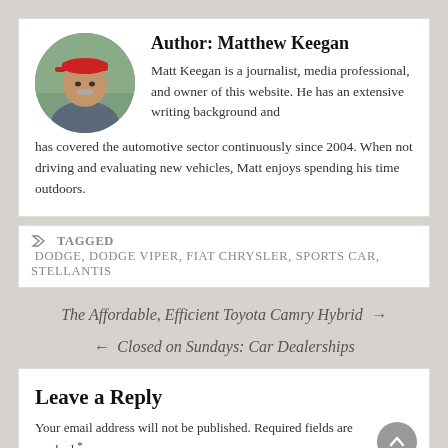Author: Matthew Keegan
Matt Keegan is a journalist, media professional, and owner of this website. He has an extensive writing background and has covered the automotive sector continuously since 2004. When not driving and evaluating new vehicles, Matt enjoys spending his time outdoors.
TAGGED DODGE, DODGE VIPER, FIAT CHRYSLER, SPORTS CAR, STELLANTIS
The Affordable, Efficient Toyota Camry Hybrid →
← Closed on Sundays: Car Dealerships
Leave a Reply
Your email address will not be published. Required fields are marked *